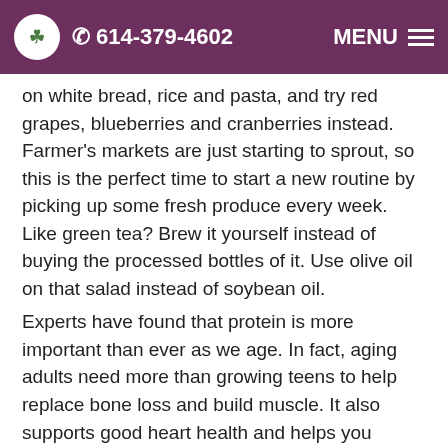614-379-4602   MENU
on white bread, rice and pasta, and try red grapes, blueberries and cranberries instead. Farmer's markets are just starting to sprout, so this is the perfect time to start a new routine by picking up some fresh produce every week. Like green tea? Brew it yourself instead of buying the processed bottles of it. Use olive oil on that salad instead of soybean oil.
Experts have found that protein is more important than ever as we age. In fact, aging adults need more than growing teens to help replace bone loss and build muscle. It also supports good heart health and helps you recover from surgery faster. You have heard of quinoa, right?
This high protein super food has 8 grams of protein per cup. That is double what is in a cup of white rice, and it